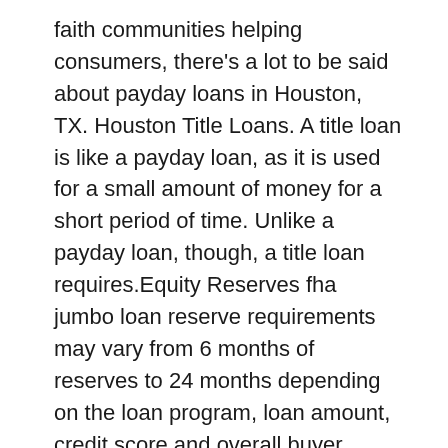faith communities helping consumers, there's a lot to be said about payday loans in Houston, TX. Houston Title Loans. A title loan is like a payday loan, as it is used for a small amount of money for a short period of time. Unlike a payday loan, though, a title loan requires.Equity Reserves fha jumbo loan reserve requirements may vary from 6 months of reserves to 24 months depending on the loan program, loan amount, credit score and overall buyer quality. avoid mortgage insurance – The Jumbo programs above are available in a variety of fixed and adjustable rate terms .FHA is required by law to adjust its amounts based on the loan limits set by the Federal Housing Finance Agency, or FHFA, for conventional mortgages guaranteed or owned by Fannie Mae and Freddie Mac.
Buying a House Without Your Spouse: Community Property Edition. and the debt and credit of your non-borrowing spouse isn't factored into the loan.. On FHA and VA loans in community property states, spousal debts are...